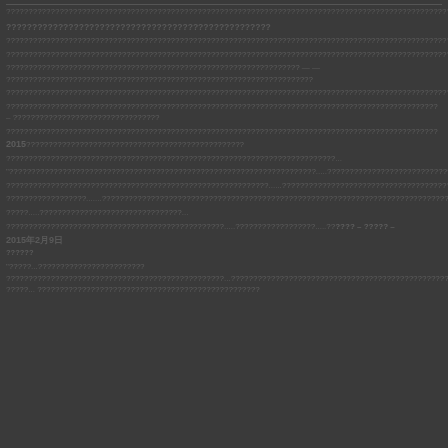????????????????????????????????????????????????????????????????????????????????????????????????
???????????????????????????????????????????????????
?????????????????????????????????????????????????????????????????????????????????????????????????????????????????????????????????????????????????????????
?????????????????????????????????????????????????????????????????????????????????????????????????????????????????????????????????????????????????????????
?????????????????????????????????????????????????????????????????? — — ?????????????????????????????????????????????????????????????????????
?????????????????????????????????????????????????????????????????????????????????????????????????????????????????????????????????????????????????????????
????????????????????????????????????????????????????????????????????????????????????????????????? – ?????????????????????????????????
?????????????????????????????????????????????????????????????????????????????????????????????????2015?????????????????????????????????????????????????
??????????????????????????????????????????????????????????????????????????...
"?????????????????????????????????????????????????????????????????????.....?????????????????????????????????????????????????????????????????
???????????????????????????????????????????????????????????......????????????????????????????????????????????????????????????????????
??????????????????.......??????????????????????????????????????????????????????????????????????????????????????????????????????
?????.....????????????????????????????????...
?????????????????????????????????????????????????.....??????????????????....."???????– ?????? –
2015年2月9日
??????
"?????...???????????????????????? ?????????????????????????????????????????????????...????????????????????????????????????????????????????????????????????? ?????... ??????????????????????????????????????????????????